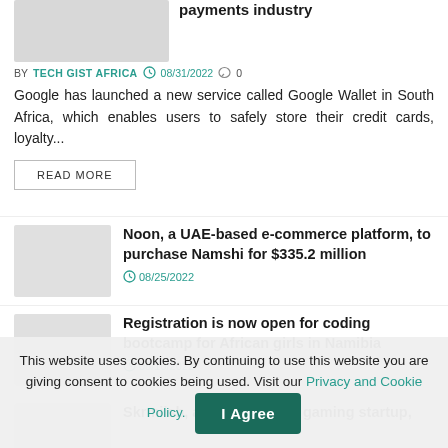payments industry
BY TECH GIST AFRICA  08/31/2022  0
Google has launched a new service called Google Wallet in South Africa, which enables users to safely store their credit cards, loyalty...
READ MORE
Noon, a UAE-based e-commerce platform, to purchase Namshi for $335.2 million
08/25/2022
Registration is now open for coding bootcamp for African girls in Namibia
08/10/2022
Skrmiish, a South African gaming startup,
This website uses cookies. By continuing to use this website you are giving consent to cookies being used. Visit our Privacy and Cookie Policy.
I Agree